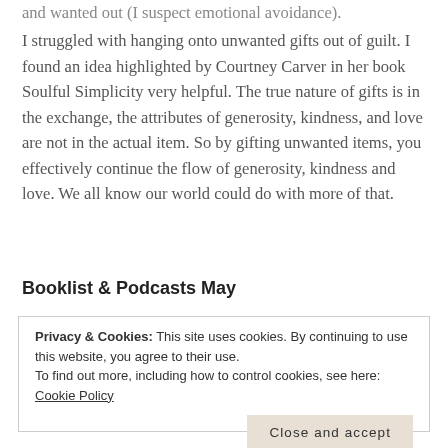and wanted out (I suspect emotional avoidance).
I struggled with hanging onto unwanted gifts out of guilt. I found an idea highlighted by Courtney Carver in her book Soulful Simplicity very helpful. The true nature of gifts is in the exchange, the attributes of generosity, kindness, and love are not in the actual item. So by gifting unwanted items, you effectively continue the flow of generosity, kindness and love. We all know our world could do with more of that.
Booklist & Podcasts May
Privacy & Cookies: This site uses cookies. By continuing to use this website, you agree to their use. To find out more, including how to control cookies, see here: Cookie Policy
Close and accept